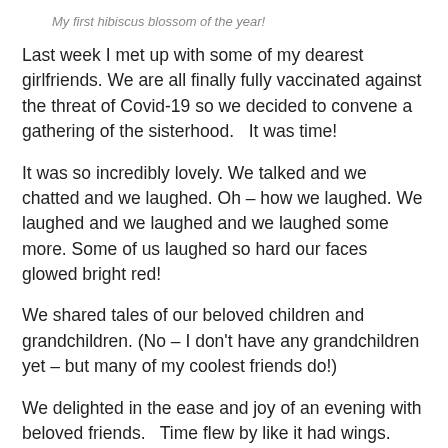My first hibiscus blossom of the year!
Last week I met up with some of my dearest girlfriends. We are all finally fully vaccinated against the threat of Covid-19 so we decided to convene a gathering of the sisterhood.   It was time!
It was so incredibly lovely. We talked and we chatted and we laughed. Oh – how we laughed. We laughed and we laughed and we laughed some more. Some of us laughed so hard our faces glowed bright red!
We shared tales of our beloved children and grandchildren. (No – I don't have any grandchildren yet – but many of my coolest friends do!)
We delighted in the ease and joy of an evening with beloved friends.   Time flew by like it had wings.